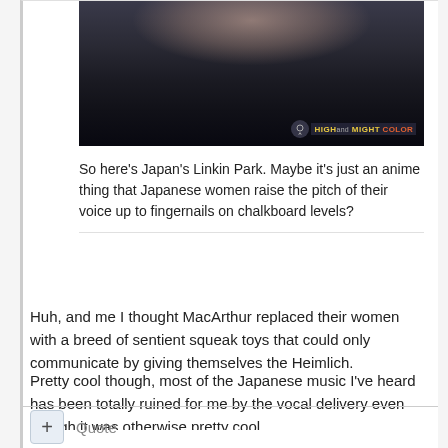[Figure (photo): Cropped photo of a person with dark hair against a dark background. A logo/watermark reading 'HIGH MIGHT COLOR' is visible in the lower right corner of the image.]
So here's Japan's Linkin Park. Maybe it's just an anime thing that Japanese women raise the pitch of their voice up to fingernails on chalkboard levels?
Huh, and me I thought MacArthur replaced their women with a breed of sentient squeak toys that could only communicate by giving themselves the Heimlich.
Pretty cool though, most of the Japanese music I've heard has been totally ruined for me by the vocal delivery even though it was otherwise pretty cool.
+ Quote